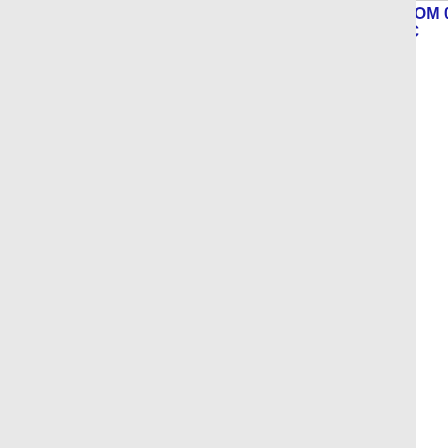| Number | State | Company | Code |
| --- | --- | --- | --- |
| 864-365-6 | SC | BANDWIDTH.COM CLEC, LLC - SC | 077F G... |
| Thousands block for 864-372 |  |  |  |
| 864-372-1 | SC | BANDWIDTH.COM CLEC, LLC - SC | 077F LL... |